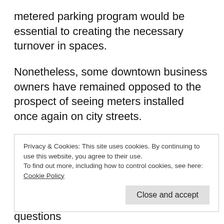metered parking program would be essential to creating the necessary turnover in spaces.
Nonetheless, some downtown business owners have remained opposed to the prospect of seeing meters installed once again on city streets.
The May 22 Parking Advisory Committee minutes included discussion about a May 1 meeting Lyons conducted with Palm Avenue
Privacy & Cookies: This site uses cookies. By continuing to use this website, you agree to their use.
To find out more, including how to control cookies, see here: Cookie Policy
City staff is encouraging anyone with questions